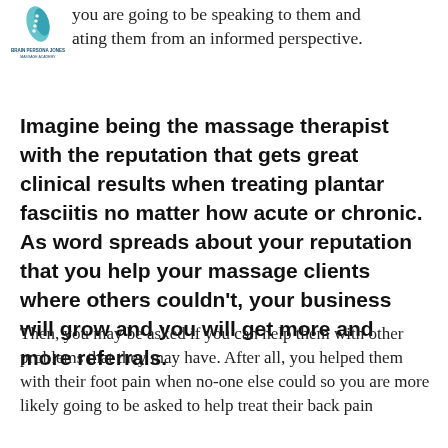you are going to be speaking to them and ating them from an informed perspective.
[Figure (logo): Small logo with blue leaf/spine motif and text below, appears to be a massage therapy academy logo]
Imagine being the massage therapist with the reputation that gets great clinical results when treating plantar fasciitis no matter how acute or chronic. As word spreads about your reputation that you help your massage clients where others couldn't, your business will grow and you will get more and more referrals.
Then, you may be asked if you can help them with other problems that they may have. After all, you helped them with their foot pain when no-one else could so you are more likely going to be asked to help treat their back pain